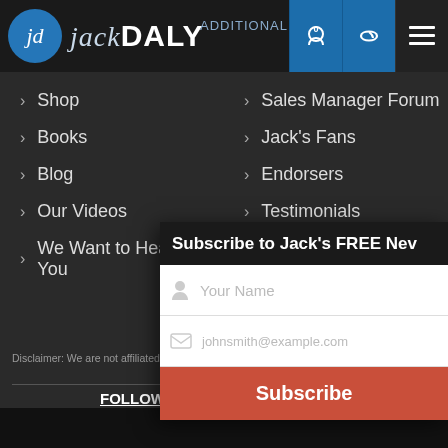jd jackDALY — ADDITIONAL LINKS
> Shop
> Sales Manager Forum
> Books
> Jack's Fans
> Blog
> Endorsers
> Our Videos
> Testimonials
> We Want to Hear From You
> Life By Design
Disclaimer: We are not affiliated connected with the IRONMA
FOLLOW US O
Copyright © Priv
[Figure (screenshot): Subscribe to Jack's FREE Newsletter overlay with name and email input fields and a Subscribe button]